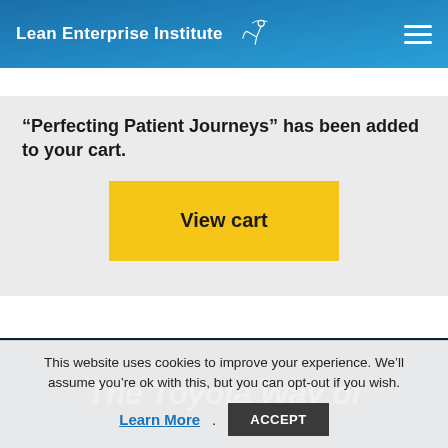Lean Enterprise Institute
“Perfecting Patient Journeys” has been added to your cart.
View cart
[Figure (illustration): Dark blue background with white bold italic text reading 'The Toyota Way of']
This website uses cookies to improve your experience. We’ll assume you’re ok with this, but you can opt-out if you wish. Learn More. ACCEPT